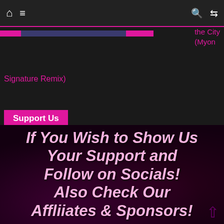Home | Menu | Search | Shuffle
the City (Myon
Signature Remix)
Support Us
[Figure (infographic): Dark background banner image with large pink bold italic text reading: If You Wish to Show Us Your Support and Follow on Socials! Also Check Our Affliiates & Sponsors!]